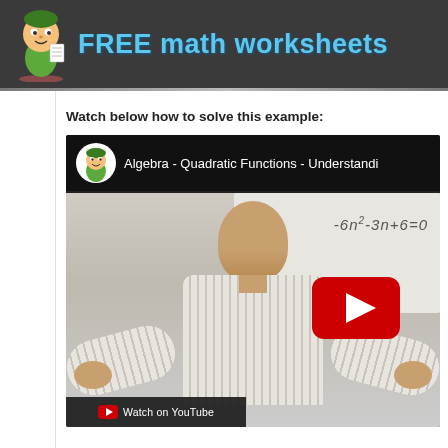FREE math worksheets
Watch below how to solve this example:
[Figure (screenshot): YouTube video thumbnail showing a bald male teacher standing in front of a whiteboard with the equation -6n^2-3n+6=0 written on it. A YouTube play button is visible. The video title reads 'Algebra - Quadratic Functions - Understanding...' with the Free Math Worksheets channel icon. A 'Watch on YouTube' bar is at the bottom.]